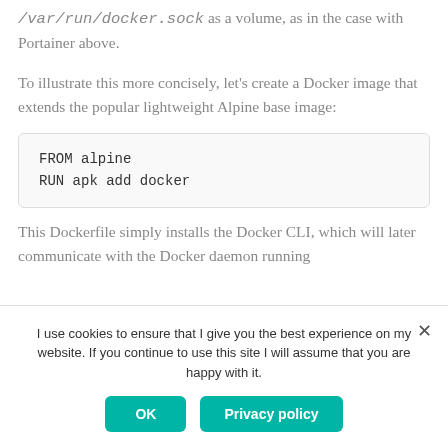/var/run/docker.sock as a volume, as in the case with Portainer above.
To illustrate this more concisely, let's create a Docker image that extends the popular lightweight Alpine base image:
FROM alpine
RUN apk add docker
This Dockerfile simply installs the Docker CLI, which will later communicate with the Docker daemon running
I use cookies to ensure that I give you the best experience on my website. If you continue to use this site I will assume that you are happy with it.